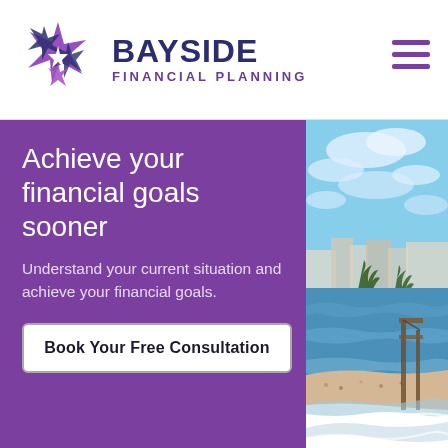[Figure (logo): Bayside Financial Planning logo with purple star burst graphic and company name]
Achieve your financial goals sooner
Understand your current situation and achieve your financial goals.
Book Your Free Consultation
[Figure (photo): Beach and pier scene with blue ocean, sandy beach with people, palm trees, and oceanfront buildings under a partly cloudy sky]